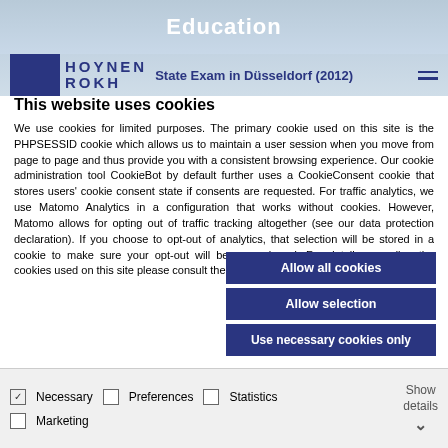Education
[Figure (logo): Hoynen & Rokh logo with dark blue square and text]
State Exam in Düsseldorf (2012)
This website uses cookies
We use cookies for limited purposes. The primary cookie used on this site is the PHPSESSID cookie which allows us to maintain a user session when you move from page to page and thus provide you with a consistent browsing experience. Our cookie administration tool CookieBot by default further uses a CookieConsent cookie that stores users' cookie consent state if consents are requested. For traffic analytics, we use Matomo Analytics in a configuration that works without cookies. However, Matomo allows for opting out of traffic tracking altogether (see our data protection declaration). If you choose to opt-out of analytics, that selection will be stored in a cookie to make sure your opt-out will be remembered. For details regarding the cookies used on this site please consult the cookie declaration below:
Allow all cookies
Allow selection
Use necessary cookies only
Necessary  Preferences  Statistics  Marketing  Show details